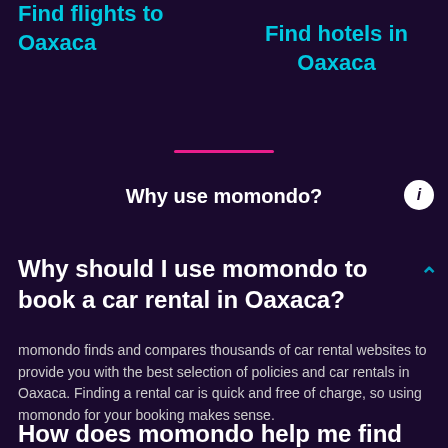Find flights to Oaxaca
Find hotels in Oaxaca
Why use momondo?
Why should I use momondo to book a car rental in Oaxaca?
momondo finds and compares thousands of car rental websites to provide you with the best selection of policies and car rentals in Oaxaca. Finding a rental car is quick and free of charge, so using momondo for your booking makes sense.
How does momondo help me find the